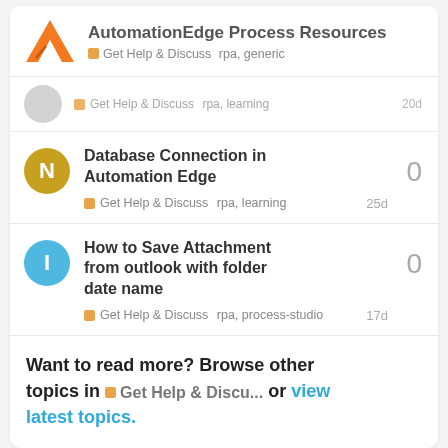AutomationEdge Process Resources — Get Help & Discuss  rpa, generic
[truncated row] Get Help & Discuss  rpa, learning  20d
Database Connection in Automation Edge — Get Help & Discuss  rpa, learning  25d  replies: 0
How to Save Attachment from outlook with folder date name — Get Help & Discuss  rpa, process-studio  17d  replies: 0
Want to read more? Browse other topics in  Get Help & Discu...  or view latest topics.